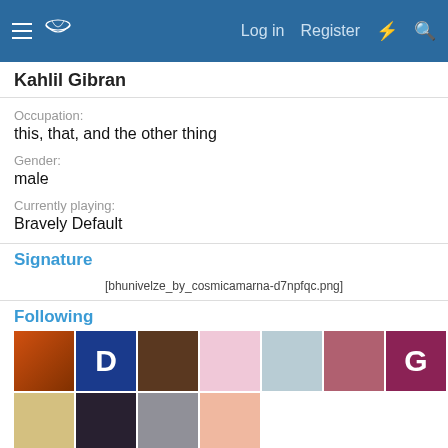Kahlil Gibran — Log in  Register
Kahlil Gibran
Occupation:
this, that, and the other thing
Gender:
male
Currently playing:
Bravely Default
Signature
[Figure (photo): Broken image placeholder: bhunivelze_by_cosmicamarna-d7npfqc.png]
Following
[Figure (photo): Grid of avatar thumbnails for users followed by Kahlil Gibran. Row 1: orange silhouette, navy D, brown cartoon, pink illustration, teal anime, rose photo, plum G, dark anime. Row 2: blonde, dark, charcoal, peach dance illustration.]